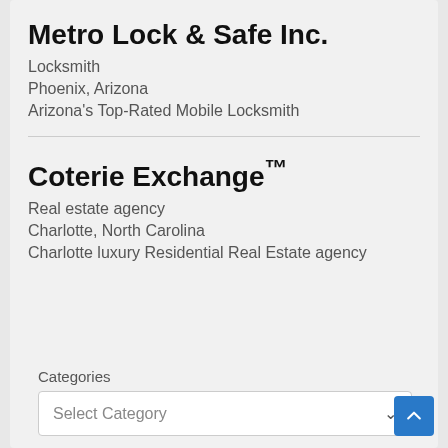Metro Lock & Safe Inc.
Locksmith
Phoenix, Arizona
Arizona's Top-Rated Mobile Locksmith
Coterie Exchange™
Real estate agency
Charlotte, North Carolina
Charlotte luxury Residential Real Estate agency
Categories
Select Category